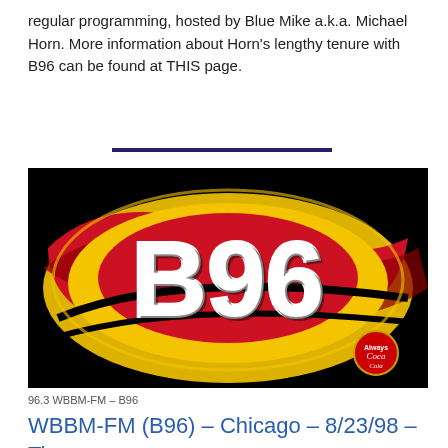regular programming, hosted by Blue Mike a.k.a. Michael Horn. More information about Horn's lengthy tenure with B96 can be found at THIS page.
[Figure (logo): B96 radio station logo on black background with red, yellow, and black swirling design. Bold white 'B96' text in center. Small Coca-Cola logo in bottom right corner.]
96.3 WBBM-FM – B96
WBBM-FM (B96) – Chicago – 8/23/98 – Tim